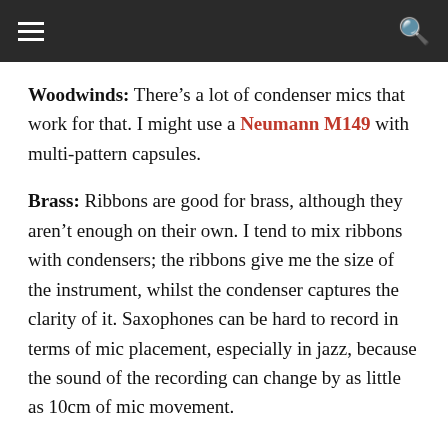Woodwinds: There’s a lot of condenser mics that work for that. I might use a Neumann M149 with multi-pattern capsules.
Brass: Ribbons are good for brass, although they aren’t enough on their own. I tend to mix ribbons with condensers; the ribbons give me the size of the instrument, whilst the condenser captures the clarity of it. Saxophones can be hard to record in terms of mic placement, especially in jazz, because the sound of the recording can change by as little as 10cm of mic movement.